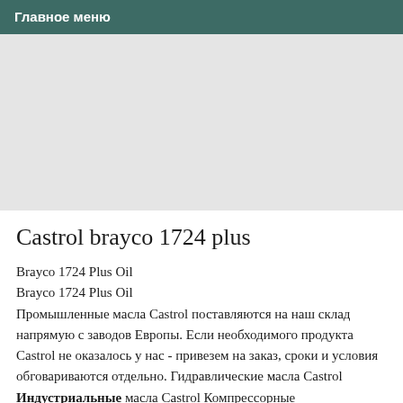Главное меню
[Figure (other): Gray placeholder image area]
Castrol brayco 1724 plus
Brayco 1724 Plus Oil
Brayco 1724 Plus Oil
Промышленные масла Castrol поставляются на наш склад напрямую с заводов Европы. Если необходимого продукта Castrol не оказалось у нас - привезем на заказ, сроки и условия обговариваются отдельно. Гидравлические масла Castrol Индустриальные масла Castrol Компрессорные